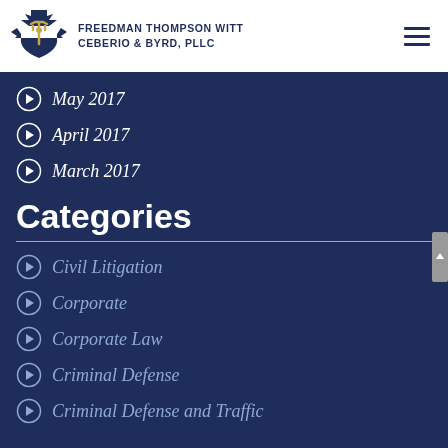FREEDMAN THOMPSON WITT CEBERIO & BYRD, PLLC
May 2017
April 2017
March 2017
Categories
Civil Litigation
Corporate
Corporate Law
Criminal Defense
Criminal Defense and Traffic